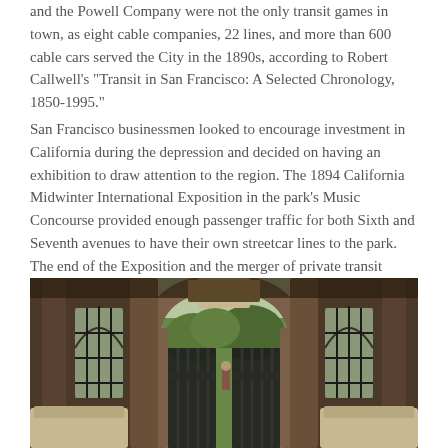and the Powell Company were not the only transit games in town, as eight cable companies, 22 lines, and more than 600 cable cars served the City in the 1890s, according to Robert Callwell's "Transit in San Francisco: A Selected Chronology, 1850-1995."
San Francisco businessmen looked to encourage investment in California during the depression and decided on having an exhibition to draw attention to the region. The 1894 California Midwinter International Exposition in the park's Music Concourse provided enough passenger traffic for both Sixth and Seventh avenues to have their own streetcar lines to the park. The end of the Exposition and the merger of private transit companies left the Market Street Railway owning both lines.
[Figure (photo): Interior view of a historic pavilion or cable car station with wooden arched columns and gothic-style windows with iron grates. A large central arched opening looks out onto a green park with trees. Iron gates are partially open in the center. Two bench seats are visible in the foreground on either side.]